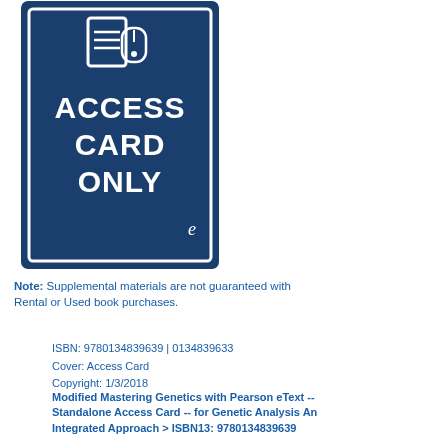[Figure (illustration): Access Card Only book cover with dark blue background showing a document and mouse icon with 'ACCESS CARD ONLY' text in white and a small 'e' logo]
Note: Supplemental materials are not guaranteed with Rental or Used book purchases.
ISBN: 9780134839639 | 0134839633
Cover: Access Card
Copyright: 1/3/2018
Modified Mastering Genetics with Pearson eText -- Standalone Access Card -- for Genetic Analysis An Integrated Approach > ISBN13: 9780134839639
eBook from VitalSource $112.49
Available Instantly
Buy eBook
Online: 1825 Days